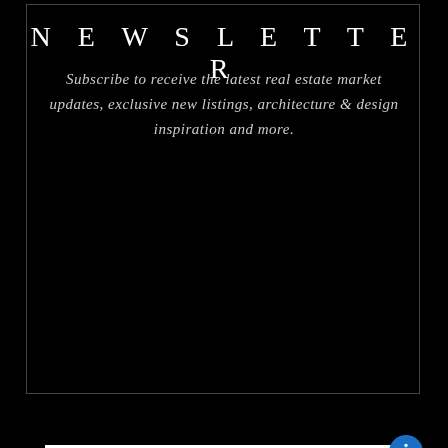NEWSLETTER
Subscribe to receive the latest real estate market updates, exclusive new listings, architecture & design inspiration and more.
[Figure (other): Email input field with placeholder text 'Your Email' on white background, with a blue circular accessibility icon button on the right, and a SUBMIT button below]